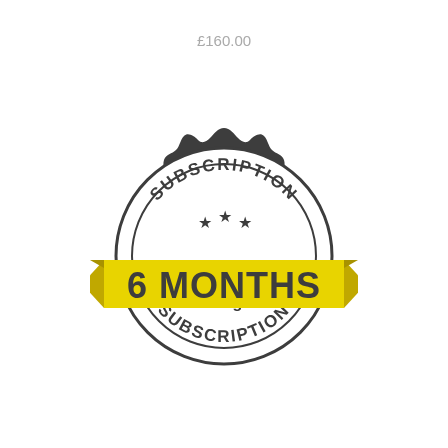£160.00
[Figure (illustration): A circular seal/badge stamp graphic with scalloped dark grey edges. The top arc reads 'SUBSCRIPTION' and the bottom arc reads 'SUBSCRIPTION'. Inside are three stars. A bold yellow ribbon banner crosses diagonally reading '6 MONTHS' in large dark text. Below the ribbon inside the circle reads '454g'.]